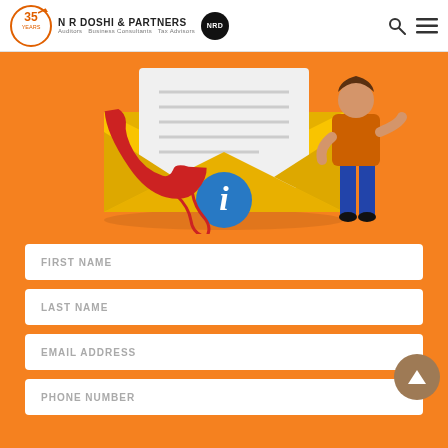N R DOSHI & PARTNERS — Auditors Business Consultants Tax Advisors
[Figure (illustration): Contact/information illustration showing a yellow envelope with a white letter inside, a blue 'i' info circle badge at the bottom of the envelope, a red telephone handset to the left, and a person in orange top and blue pants to the right.]
FIRST NAME
LAST NAME
EMAIL ADDRESS
PHONE NUMBER